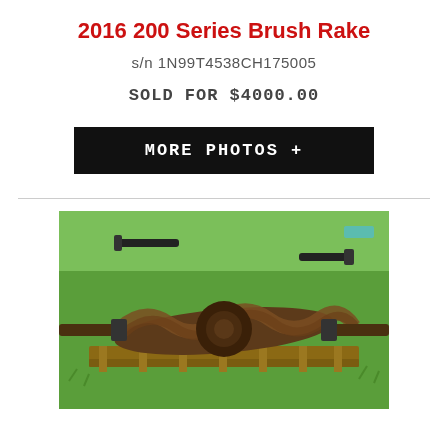2016 200 Series Brush Rake
s/n 1N99T4538CH175005
SOLD FOR $4000.00
MORE PHOTOS +
[Figure (photo): Photo of a large auger/brush rake implement lying on wooden pallets on green grass. The implement appears rusty/brown and has a spiral auger shape. Other equipment is visible in the background.]